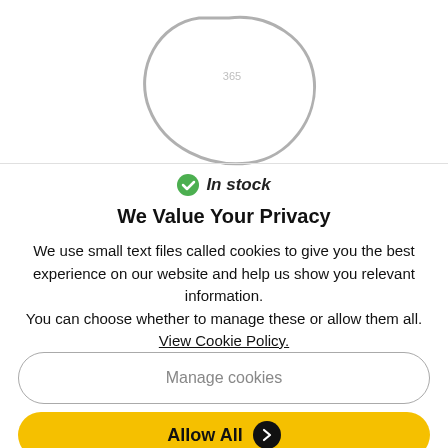[Figure (illustration): Partial product image showing a rounded tablet/pill-shaped item with the number 365 visible, outlined in gray on white background]
In stock
We Value Your Privacy
We use small text files called cookies to give you the best experience on our website and help us show you relevant information.
You can choose whether to manage these or allow them all.
View Cookie Policy.
Manage cookies
Allow All